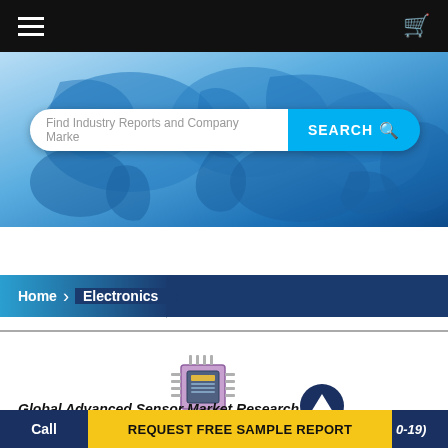[Figure (screenshot): Dark navigation bar with hamburger menu icon on left and shopping cart icon on right]
[Figure (illustration): Blue world map hero banner background with search bar overlay]
Find Industry Reports and Company Marke
SEARCH
Home > Electronics
[Figure (illustration): Microchip/processor icon in purple/teal]
[Figure (illustration): Dark blue circle with white upward arrow]
Global Advanced Sensor Market Research Report
Call
REQUEST FREE SAMPLE REPORT